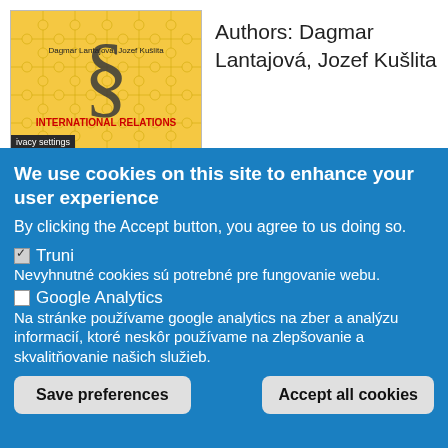[Figure (illustration): Book cover for 'International Relations' by Dagmar Lantajová and Jozef Kušlita, showing a yellow puzzle pattern background with a large dark ampersand/section symbol in the center and red text reading 'INTERNATIONAL RELATIONS']
Authors: Dagmar Lantajová, Jozef Kušlita
ivacy settings
We use cookies on this site to enhance your user experience
By clicking the Accept button, you agree to us doing so.
✓ Truni
Nevyhnutné cookies sú potrebné pre fungovanie webu.
☐ Google Analytics
Na stránke používame google analytics na zber a analýzu informacií, ktoré neskôr používame na zlepšovanie a skvalitňovanie našich služieb.
Save preferences | Accept all cookies